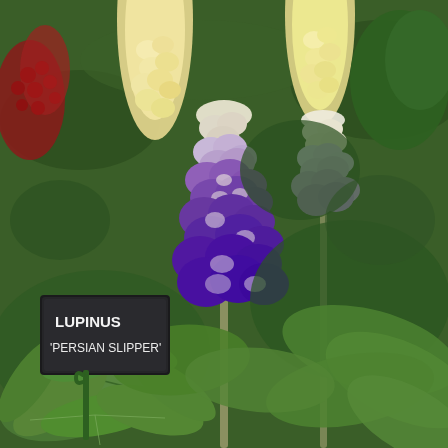[Figure (photo): A close-up photograph of Lupinus 'Persian Slipper' flowers in bloom. The foreground features tall lupine flower spikes with purple and white bicolor blooms arranged in dense conical clusters. Behind them are additional lupine spikes with creamy yellow flowers. Lush green palmate lupine leaves fill the lower portion of the image. A dark slate plant label reading 'LUPINUS PERSIAN SLIPPER' on a green stake is visible on the left side.]